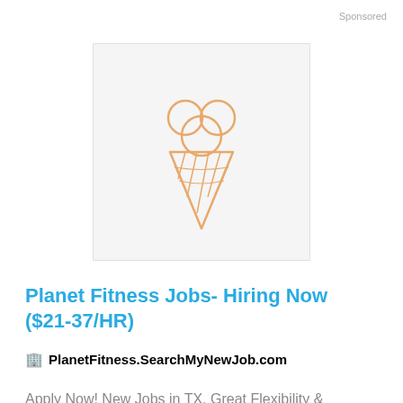Sponsored
[Figure (illustration): Ice cream cone icon outline in orange/tan color on light gray background]
Planet Fitness Jobs- Hiring Now ($21-37/HR)
🏢 PlanetFitness.SearchMyNewJob.com
Apply Now! New Jobs in TX. Great Flexibility & Benefits!
More Details
Sponsored
[Figure (illustration): Partial ice cream scoops icon outline in orange/tan color on light gray background, cropped at bottom of page]